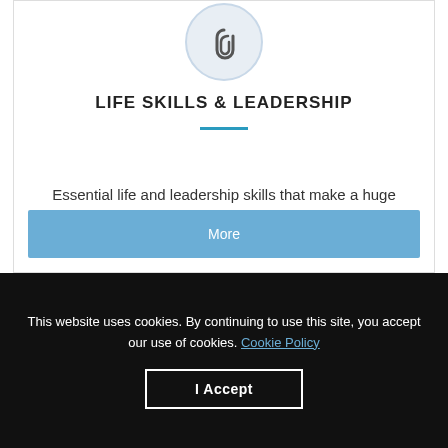[Figure (illustration): Circular icon with a paperclip/link symbol inside a light blue-grey circle with a border]
LIFE SKILLS & LEADERSHIP
Essential life and leadership skills that make a huge difference in overcoming barriers to success in life.
More
This website uses cookies. By continuing to use this site, you accept our use of cookies. Cookie Policy
I Accept